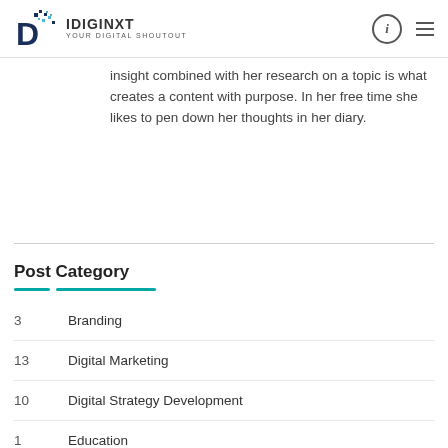IDIGINXT YOUR DIGITAL SHOUTOUT
insight combined with her research on a topic is what creates a content with purpose. In her free time she likes to pen down her thoughts in her diary.
Post Category
3  Branding
13  Digital Marketing
10  Digital Strategy Development
1  Education